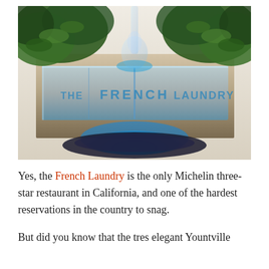[Figure (photo): Photo of an illuminated ice sculpture displaying 'THE FRENCH LAUNDRY' text, lit with blue LED light from below, with green herb plants/foliage visible in the background and a glass or decanter on top.]
Yes, the French Laundry is the only Michelin three-star restaurant in California, and one of the hardest reservations in the country to snag.
But did you know that the tres elegant Yountville